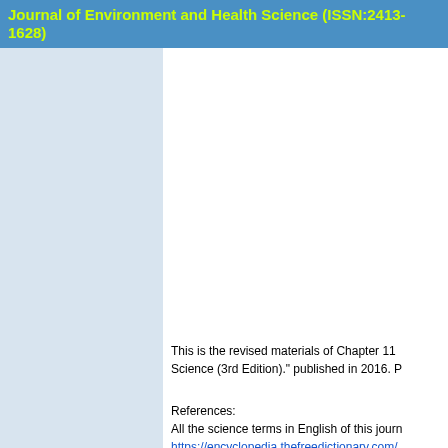Journal of Environment and Health Science (ISSN:2413-1628)
This is the revised materials of Chapter 11 Science (3rd Edition)." published in 2016. P
References:
All the science terms in English of this journal
https://encyclopedia.thefreedictionary.com/